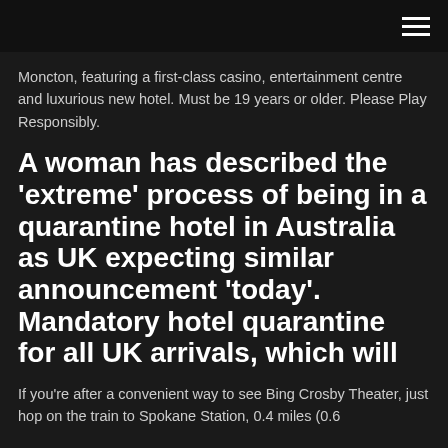Moncton, featuring a first-class casino, entertainment centre and luxurious new hotel. Must be 19 years or older. Please Play Responsibly.
A woman has described the 'extreme' process of being in a quarantine hotel in Australia as UK expecting similar announcement 'today'. Mandatory hotel quarantine for all UK arrivals, which will
If you're after a convenient way to see Bing Crosby Theater, just hop on the train to Spokane Station, 0.4 miles (0.6